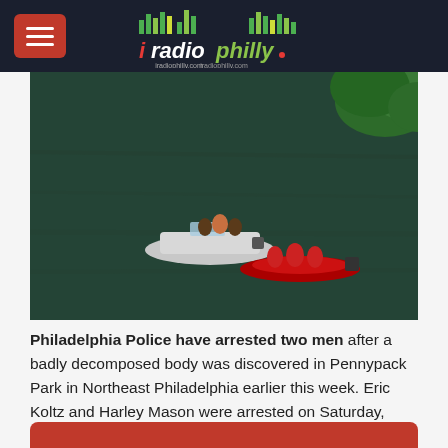iRadioPhilly - iradiophilly.com
[Figure (photo): Aerial view of two boats on a dark river — a white motorboat and a red inflatable rescue boat with people in red suits, near green trees at top right.]
Philadelphia Police have arrested two men after a badly decomposed body was discovered in Pennypack Park in Northeast Philadelphia earlier this week. Eric Koltz and Harley Mason were arrested on Saturday, 5/26. Koltz in charged with murder, PIC, tampering with evidence, obstruction of justice and abuse of corpse. Mason is charged with tampering with evidence, obstruction of justice and...